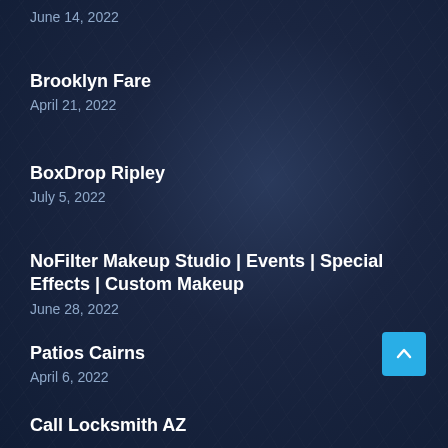June 14, 2022
Brooklyn Fare
April 21, 2022
BoxDrop Ripley
July 5, 2022
NoFilter Makeup Studio | Events | Special Effects | Custom Makeup
June 28, 2022
Patios Cairns
April 6, 2022
Call Locksmith AZ